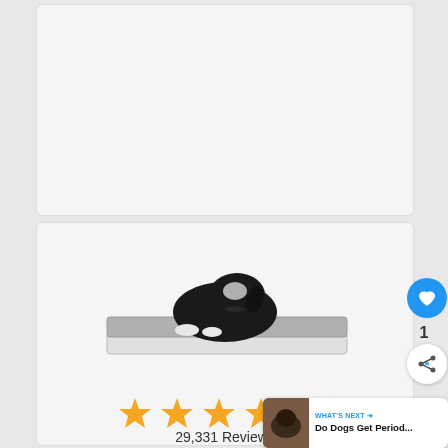[Figure (photo): Top white/light gray card area (product listing placeholder, empty)]
[Figure (photo): A black dog lying on a gray rectangular foam/orthopedic dog bed. The dog bed has a white base and gray top surface.]
[Figure (other): Star rating showing approximately 4.5 out of 5 stars in gold/yellow color]
29,331 Reviews